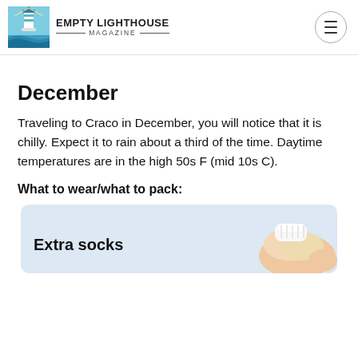Empty Lighthouse Magazine
December
Traveling to Craco in December, you will notice that it is chilly. Expect it to rain about a third of the time. Daytime temperatures are in the high 50s F (mid 10s C).
What to wear/what to pack:
[Figure (other): Product card for Extra socks with a photo of socks on the right side, on a light blue-grey background]